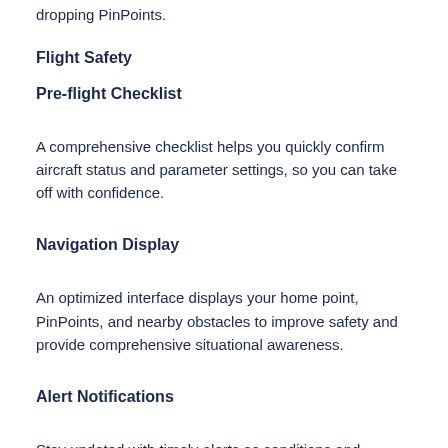dropping PinPoints.
Flight Safety
Pre-flight Checklist
A comprehensive checklist helps you quickly confirm aircraft status and parameter settings, so you can take off with confidence.
Navigation Display
An optimized interface displays your home point, PinPoints, and nearby obstacles to improve safety and provide comprehensive situational awareness.
Alert Notifications
Stay updated with timely alerts as conditions and scenarios evolve.